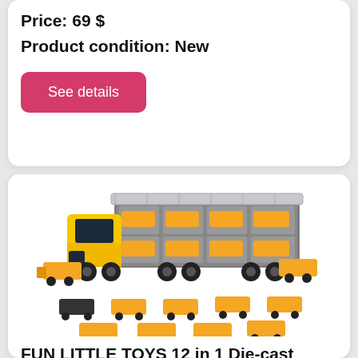Price: 69 $
Product condition: New
See details
[Figure (photo): Yellow die-cast construction toy truck carrier with multiple small construction vehicle toys displayed around it]
FUN LITTLE TOYS 12 in 1 Die-cast Construction Truc